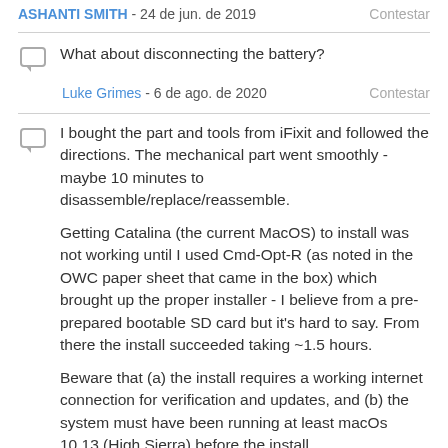ASHANTI SMITH - 24 de jun. de 2019   Contestar
What about disconnecting the battery?
Luke Grimes - 6 de ago. de 2020   Contestar
I bought the part and tools from iFixit and followed the directions. The mechanical part went smoothly - maybe 10 minutes to disassemble/replace/reassemble.

Getting Catalina (the current MacOS) to install was not working until I used Cmd-Opt-R (as noted in the OWC paper sheet that came in the box) which brought up the proper installer - I believe from a pre-prepared bootable SD card but it's hard to say. From there the install succeeded taking ~1.5 hours.

Beware that (a) the install requires a working internet connection for verification and updates, and (b) the system must have been running at least macOs 10.13 (High Sierra) before the install